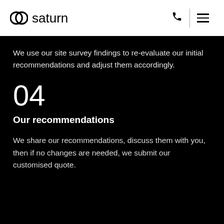saturn
We use our site survey findings to re-evaluate our initial recommendations and adjust them accordingly.
04
Our recommendations
We share our recommendations, discuss them with you, then if no changes are needed, we submit our customised quote.